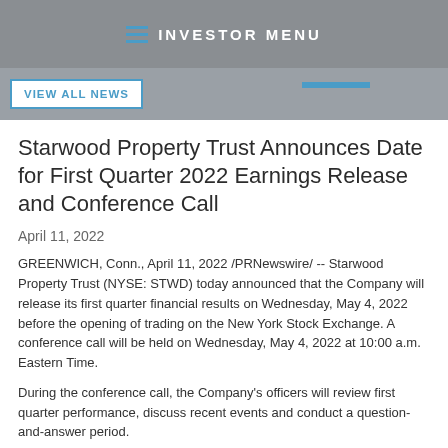INVESTOR MENU
Starwood Property Trust Announces Date for First Quarter 2022 Earnings Release and Conference Call
April 11, 2022
GREENWICH, Conn., April 11, 2022 /PRNewswire/ -- Starwood Property Trust (NYSE: STWD) today announced that the Company will release its first quarter financial results on Wednesday, May 4, 2022 before the opening of trading on the New York Stock Exchange. A conference call will be held on Wednesday, May 4, 2022 at 10:00 a.m. Eastern Time.
During the conference call, the Company's officers will review first quarter performance, discuss recent events and conduct a question-and-answer period.